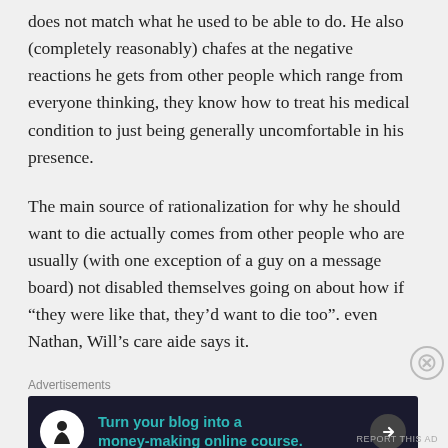does not match what he used to be able to do. He also (completely reasonably) chafes at the negative reactions he gets from other people which range from everyone thinking, they know how to treat his medical condition to just being generally uncomfortable in his presence.
The main source of rationalization for why he should want to die actually comes from other people who are usually (with one exception of a guy on a message board) not disabled themselves going on about how if “they were like that, they’d want to die too”. even Nathan, Will’s care aide says it.
Advertisements
[Figure (other): Dark advertisement banner: 'Turn your blog into a money-making online course.' with a tree/person icon on the left and an arrow button on the right.]